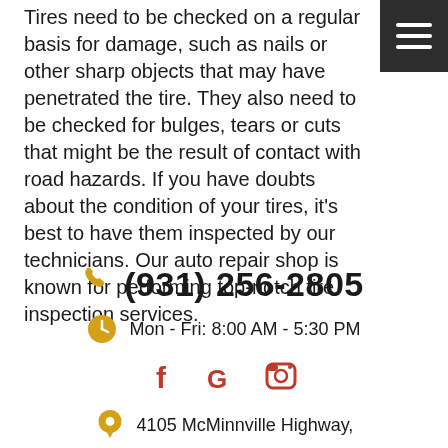Tires need to be checked on a regular basis for damage, such as nails or other sharp objects that may have penetrated the tire. They also need to be checked for bulges, tears or cuts that might be the result of contact with road hazards. If you have doubts about the condition of your tires, it's best to have them inspected by our technicians. Our auto repair shop is known for performing top-notch tire inspection services.
(931) 256-2805
Mon - Fri: 8:00 AM - 5:30 PM
[Figure (infographic): Social media icons: Facebook (f), Google (G), Instagram (camera icon) in red/crimson color]
4105 McMinnville Highway,